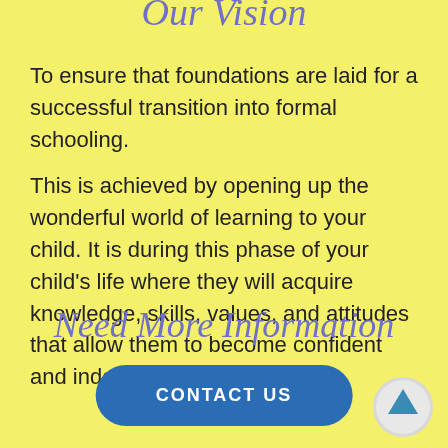Our Vision
To ensure that foundations are laid for a successful transition into formal schooling.
This is achieved by opening up the wonderful world of learning to your child. It is during this phase of your child's life where they will acquire knowledge, skills, values, and attitudes that allow them to become confident and independent thinkers.
Need More Information
CONTACT US